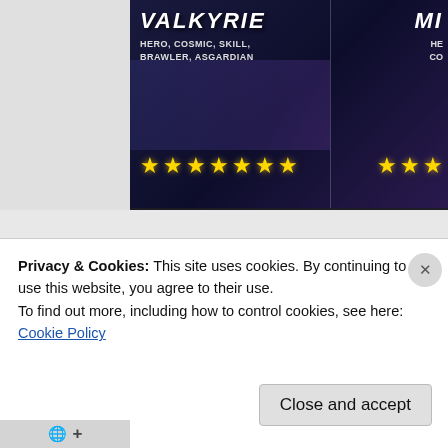[Figure (screenshot): Mobile game advertisement banner showing 'VALKYRIE' and 'MIL...' characters with hero attributes and star ratings, followed by caption 'iPhone owners are obsessed with this']
[Figure (screenshot): App listing showing 'Almost Nobody H... Classic Logo Quiz...' by WarpedSpeed with a baby face logo icon on blue background]
Privacy & Cookies: This site uses cookies. By continuing to use this website, you agree to their use.
To find out more, including how to control cookies, see here: Cookie Policy
Close and accept